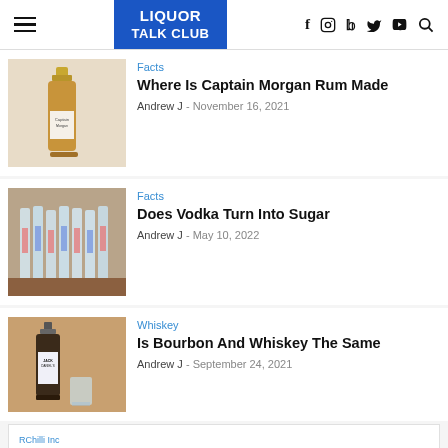LIQUOR TALK CLUB
[Figure (photo): Captain Morgan rum bottle with gold cap on white background]
Facts
Where Is Captain Morgan Rum Made
Andrew J  -  November 16, 2021
[Figure (photo): Multiple vodka bottles lined up on a wooden table]
Facts
Does Vodka Turn Into Sugar
Andrew J  -  May 10, 2022
[Figure (photo): Jack Daniel's whiskey bottle with glass]
Whiskey
Is Bourbon And Whiskey The Same
Andrew J  -  September 24, 2021
RChilli Inc
Global Hiring Trends
Open